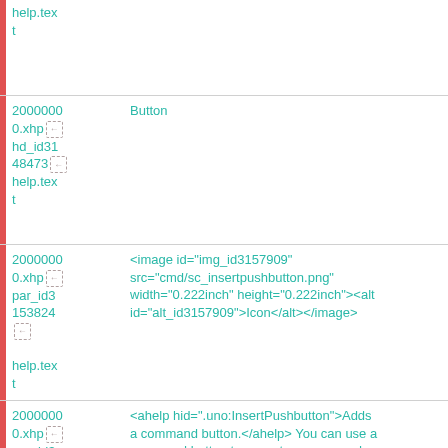| 20000000.xhp
hd_id3148473
help.text | Button |
| 20000000.xhp
par_id3153824
help.text | <image id="img_id3157909" src="cmd/sc_insertpushbutton.png" width="0.222inch" height="0.222inch"><alt id="alt_id3157909">Icon</alt></antml:image> |
| 20000000.xhp
par_id3
help.text | <ahelp hid=".uno:InsertPushbutton">Adds a command button.</ahelp> You can use a command button to execute a command |